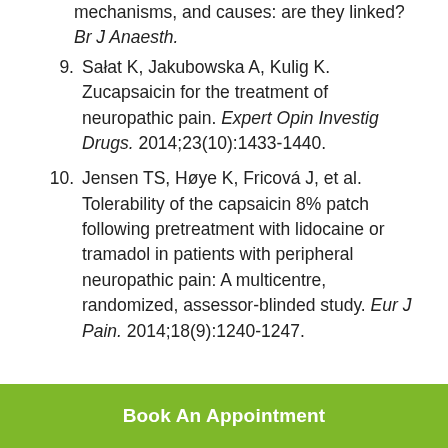mechanisms, and causes: are they linked? Br J Anaesth.
9. Sałat K, Jakubowska A, Kulig K. Zucapsaicin for the treatment of neuropathic pain. Expert Opin Investig Drugs. 2014;23(10):1433-1440.
10. Jensen TS, Høye K, Fricová J, et al. Tolerability of the capsaicin 8% patch following pretreatment with lidocaine or tramadol in patients with peripheral neuropathic pain: A multicentre, randomized, assessor-blinded study. Eur J Pain. 2014;18(9):1240-1247.
Book An Appointment